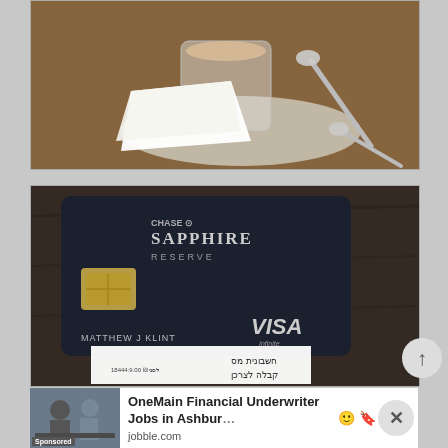[Figure (photo): A coffee cup with latte and spoon on a saucer with napkin on a wooden table, partially cropped at top]
[Figure (photo): A Chase Sapphire Reserve Visa Infinite credit card belonging to Matthew J Klint resting on a dark leather wallet, with a Hebrew-text receipt visible underneath]
[Figure (photo): Advertisement image showing two people in a business meeting setting]
OneMain Financial Underwriter Jobs in Ashburn
jobble.com
Sponsored